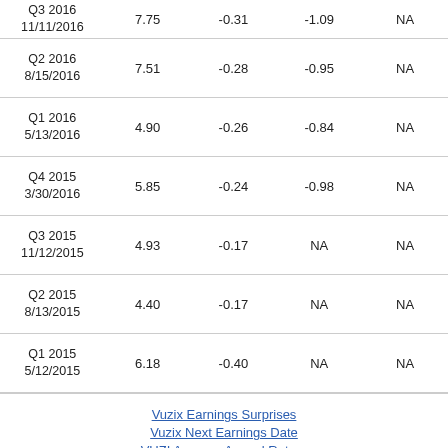| Period / Date | Price | EPS Est. | EPS Actual | Revenue Est. |
| --- | --- | --- | --- | --- |
| Q3 2016
11/11/2016 | 7.75 | -0.31 | -1.09 | NA |
| Q2 2016
8/15/2016 | 7.51 | -0.28 | -0.95 | NA |
| Q1 2016
5/13/2016 | 4.90 | -0.26 | -0.84 | NA |
| Q4 2015
3/30/2016 | 5.85 | -0.24 | -0.98 | NA |
| Q3 2015
11/12/2015 | 4.93 | -0.17 | NA | NA |
| Q2 2015
8/13/2015 | 4.40 | -0.17 | NA | NA |
| Q1 2015
5/12/2015 | 6.18 | -0.40 | NA | NA |
Vuzix Earnings Surprises
Vuzix Next Earnings Date
VUZI Average Annual Return